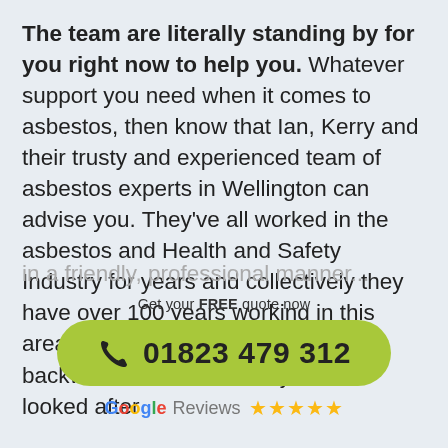The team are literally standing by for you right now to help you. Whatever support you need when it comes to asbestos, then know that Ian, Kerry and their trusty and experienced team of asbestos experts in Wellington can advise you. They've all worked in the asbestos and Health and Safety Industry for years and collectively they have over 100 years working in this area. They will literally bend over backwards to ensure that you are looked after in a friendly, professional manner...
Get your FREE quote now
01823 479 312
Google Reviews ★★★★★